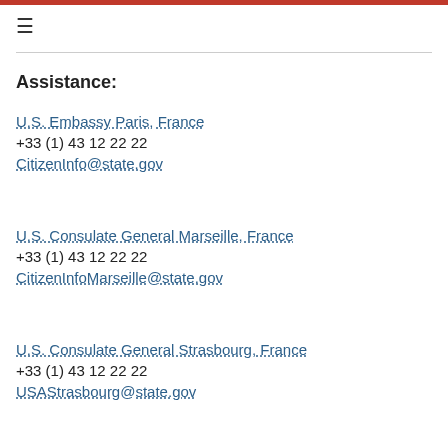Assistance:
U.S. Embassy Paris, France
+33 (1) 43 12 22 22
CitizenInfo@state.gov
U.S. Consulate General Marseille, France
+33 (1) 43 12 22 22
CitizenInfoMarseille@state.gov
U.S. Consulate General Strasbourg, France
+33 (1) 43 12 22 22
USAStrasbourg@state.gov